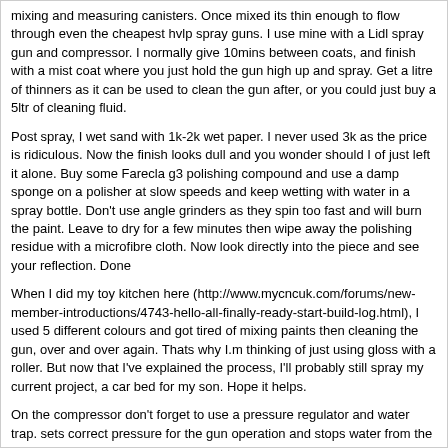mixing and measuring canisters. Once mixed its thin enough to flow through even the cheapest hvlp spray guns. I use mine with a Lidl spray gun and compressor. I normally give 10mins between coats, and finish with a mist coat where you just hold the gun high up and spray. Get a litre of thinners as it can be used to clean the gun after, or you could just buy a 5ltr of cleaning fluid.
Post spray, I wet sand with 1k-2k wet paper. I never used 3k as the price is ridiculous. Now the finish looks dull and you wonder should I of just left it alone. Buy some Farecla g3 polishing compound and use a damp sponge on a polisher at slow speeds and keep wetting with water in a spray bottle. Don't use angle grinders as they spin too fast and will burn the paint. Leave to dry for a few minutes then wipe away the polishing residue with a microfibre cloth. Now look directly into the piece and see your reflection. Done
When I did my toy kitchen here (http://www.mycncuk.com/forums/new-member-introductions/4743-hello-all-finally-ready-start-build-log.html), I used 5 different colours and got tired of mixing paints then cleaning the gun, over and over again. Thats why I.m thinking of just using gloss with a roller. But now that I've explained the process, I'll probably still spray my current project, a car bed for my son. Hope it helps.
On the compressor don't forget to use a pressure regulator and water trap. sets correct pressure for the gun operation and stops water from the compressor feeding into the paint.
Hope this helps, good luck
i've got a friend who love polishing so hopefully i'll let him do the hard work with his buffer.
i dont know if you clicked the links i posted but the primer comes with the hardner and the gloss comes with 1ltr of thinners to mix with 1.5ltr mixed paint/hardner and they say use 10% so in my eyes i should still have a nice bit of thinners left for cleaning if i'm good.
i have sprayed one thing before with my gun but again that was cellulose 7746